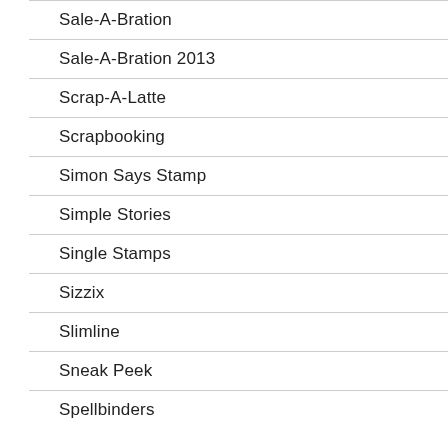Sale-A-Bration
Sale-A-Bration 2013
Scrap-A-Latte
Scrapbooking
Simon Says Stamp
Simple Stories
Single Stamps
Sizzix
Slimline
Sneak Peek
Spellbinders